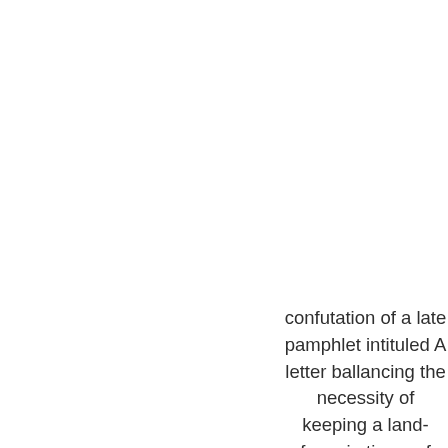[Figure (illustration): Top portion of a book cover shown in blue, with a darker blue spine on the left side and lighter blue main cover area.]
confutation of a late pamphlet intituled A letter ballancing the necessity of keeping a land-force in times of peace, with the dangers that may follow on it.
[Figure (illustration): Bottom portion of a book cover shown in blue, with a darker blue spine on the left side and lighter blue main cover area.]